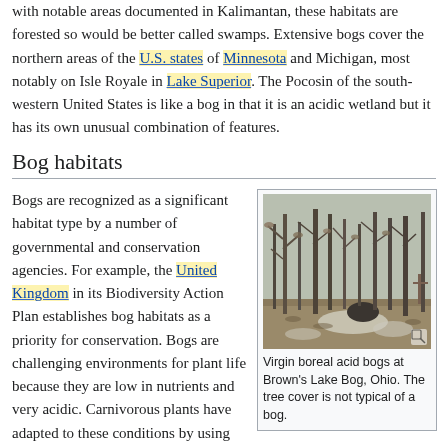with notable areas documented in Kalimantan, these habitats are forested so would be better called swamps. Extensive bogs cover the northern areas of the U.S. states of Minnesota and Michigan, most notably on Isle Royale in Lake Superior. The Pocosin of the south-western United States is like a bog in that it is an acidic wetland but it has its own unusual combination of features.
Bog habitats
Bogs are recognized as a significant habitat type by a number of governmental and conservation agencies. For example, the United Kingdom in its Biodiversity Action Plan establishes bog habitats as a priority for conservation. Bogs are challenging environments for plant life because they are low in nutrients and very acidic. Carnivorous plants have adapted to these conditions by using insects as a nutrient source. The high acidity of bogs and the absorption of water by sphagnum
[Figure (photo): A forest scene showing Virgin boreal acid bogs at Brown's Lake Bog, Ohio. Trees with bare branches stand among leaf-covered ground with patches of snow or ice visible.]
Virgin boreal acid bogs at Brown's Lake Bog, Ohio. The tree cover is not typical of a bog.